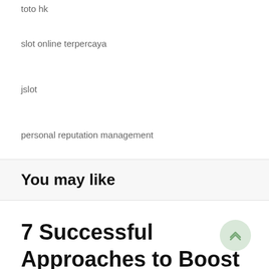toto hk
slot online terpercaya
jslot
personal reputation management
You may like
7 Successful Approaches to Boost Instagram Followers With out Extra